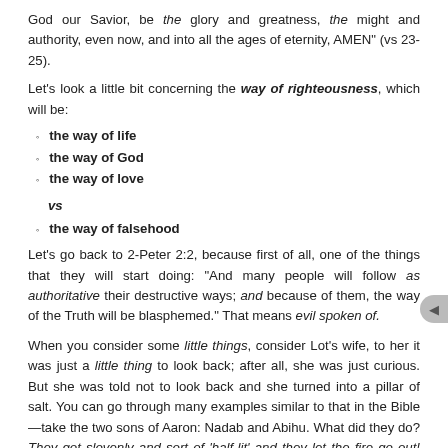God our Savior, be the glory and greatness, the might and authority, even now, and into all the ages of eternity, AMEN" (vs 23-25).
Let's look a little bit concerning the way of righteousness, which will be:
the way of life
the way of God
the way of love
vs
the way of falsehood
Let's go back to 2-Peter 2:2, because first of all, one of the things that they will start doing: "And many people will follow as authoritative their destructive ways; and because of them, the way of the Truth will be blasphemed." That means evil spoken of.
When you consider some little things, consider Lot's wife, to her it was just a little thing to look back; after all, she was just curious. But she was told not to look back and she turned into a pillar of salt. You can go through many examples similar to that in the Bible—take the two sons of Aaron: Nadab and Abihu. What did they do? They got slovenly and sort of 'half-lit' and they let the fire go out! They figured well, we better get the fire up here. So they put 'strange